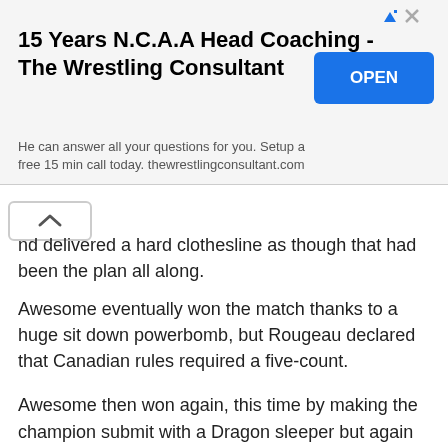[Figure (other): Advertisement banner for 'The Wrestling Consultant' with title '15 Years N.C.A.A Head Coaching - The Wrestling Consultant', description 'He can answer all your questions for you. Setup a free 15 min call today. thewrestlingconsultant.com', and an OPEN button.]
...d delivered a hard clothesline as though that had been the plan all along.
Awesome eventually won the match thanks to a huge sit down powerbomb, but Rougeau declared that Canadian rules required a five-count.
Awesome then won again, this time by making the champion submit with a Dragon sleeper but again the former Mountie got involved, insisting that titles couldn't change hands on a submission in Canada.
Undeterred, Awesome beat Storm a third time and pinned him for the five count, only for Jacques to make it a Texas death match in which the champion had til the count of ten to get up after being pinned.